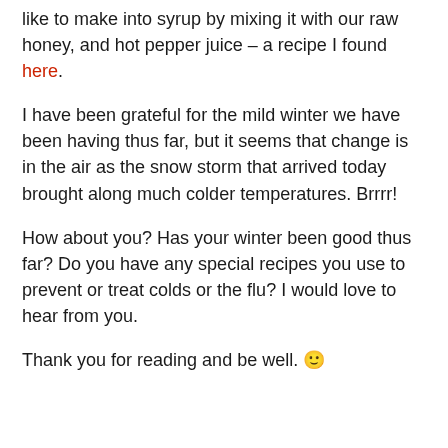like to make into syrup by mixing it with our raw honey, and hot pepper juice – a recipe I found here.
I have been grateful for the mild winter we have been having thus far, but it seems that change is in the air as the snow storm that arrived today brought along much colder temperatures. Brrrr!
How about you? Has your winter been good thus far? Do you have any special recipes you use to prevent or treat colds or the flu? I would love to hear from you.
Thank you for reading and be well. 🙂